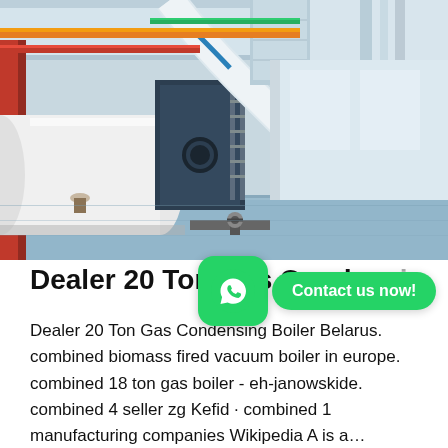[Figure (photo): Industrial boiler room with large white cylindrical boiler, insulated pipes (white, orange, red, green), concrete columns, and a staircase in the background. Modern industrial facility with blue-tinted flooring.]
Dealer 20 Ton Gas Condensing Boiler Bel...
Dealer 20 Ton Gas Condensing Boiler Belarus. combined biomass fired vacuum boiler in europe. combined 18 ton gas boiler - eh-janowskide. combined 4 seller zg Kefid · combined 1 manufacturing companies Wikipedia A is a...